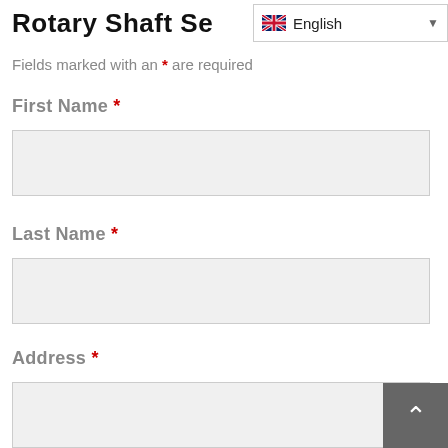Rotary Shaft Se...
Fields marked with an * are required
First Name *
Last Name *
Address *
City *